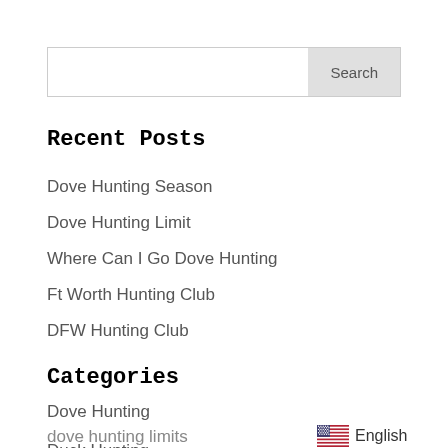Recent Posts
Dove Hunting Season
Dove Hunting Limit
Where Can I Go Dove Hunting
Ft Worth Hunting Club
DFW Hunting Club
Categories
Dove Hunting
dove hunting limits
Duck Hunting